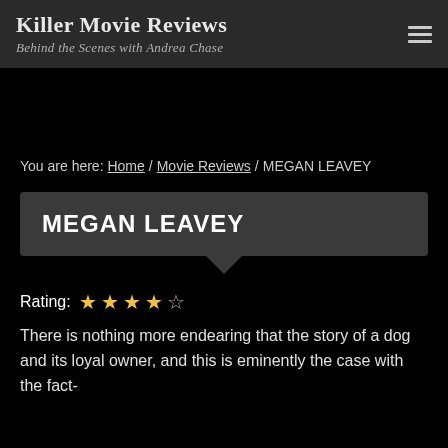Killer Movie Reviews
Behind the Scenes with Andrea Chase
You are here: Home / Movie Reviews / MEGAN LEAVEY
MEGAN LEAVEY
Rating: ★★★★☆
There is nothing more endearing that the story of a dog and its loyal owner, and this is eminently the case with the fact-